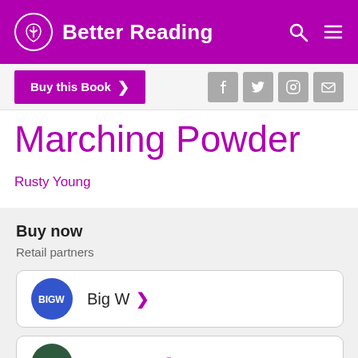Better Reading
Buy this Book ▶
Marching Powder
Rusty Young
Buy now
Retail partners
Big W
Booktopia